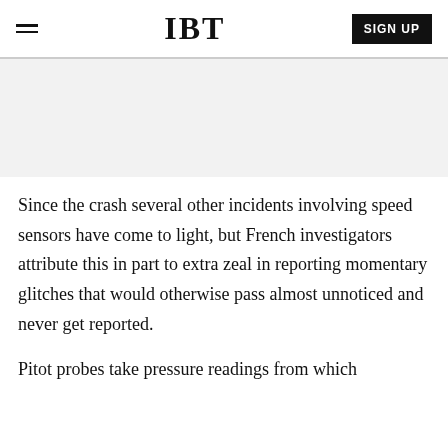IBT
[Figure (other): Advertisement placeholder area with light gray background]
Since the crash several other incidents involving speed sensors have come to light, but French investigators attribute this in part to extra zeal in reporting momentary glitches that would otherwise pass almost unnoticed and never get reported.
Pitot probes take pressure readings from which